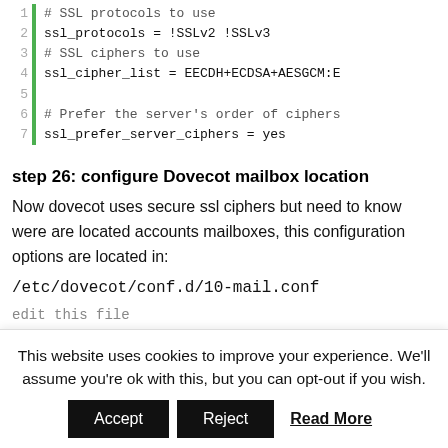[Figure (screenshot): Code block showing SSL configuration lines 1-7 with green vertical bar and line numbers. Lines: 1: # SSL protocols to use, 2: ssl_protocols = !SSLv2 !SSLv3, 3: # SSL ciphers to use, 4: ssl_cipher_list = EECDH+ECDSA+AESGCM:E, 5: (blank), 6: # Prefer the server's order of ciphers, 7: ssl_prefer_server_ciphers = yes]
step 26: configure Dovecot mailbox location
Now dovecot uses secure ssl ciphers but need to know were are located accounts mailboxes, this configuration options are located in:
/etc/dovecot/conf.d/10-mail.conf
edit this file
This website uses cookies to improve your experience. We'll assume you're ok with this, but you can opt-out if you wish.